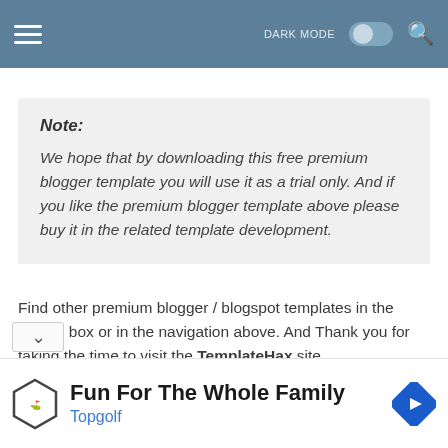DARK MODE [toggle] [search]
Note:
We hope that by downloading this free premium blogger template you will use it as a trial only. And if you like the premium blogger template above please buy it in the related template development.
Find other premium blogger / blogspot templates in the search box or in the navigation above. And Thank you for taking the time to visit the TemplateHax site.
Fun For The Whole Family
Topgolf